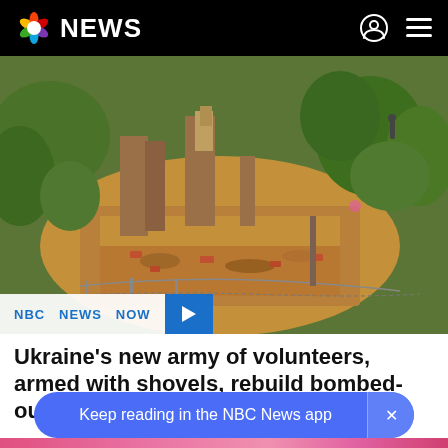NBC NEWS
[Figure (photo): Aerial drone view of a bombed-out home in Ukraine, showing destroyed walls, rubble, exposed foundation, surrounded by green trees and vegetation]
NBC NEWS NOW
Ukraine’s new army of volunteers, armed with shovels, rebuild bombed-out homes
Keep reading in the NBC News app